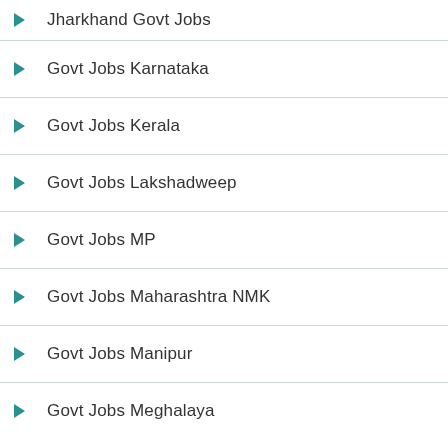Jharkhand Govt Jobs
Govt Jobs Karnataka
Govt Jobs Kerala
Govt Jobs Lakshadweep
Govt Jobs MP
Govt Jobs Maharashtra NMK
Govt Jobs Manipur
Govt Jobs Meghalaya